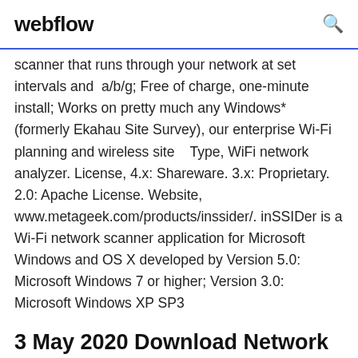webflow
scanner that runs through your network at set intervals and  a/b/g; Free of charge, one-minute install; Works on pretty much any Windows* (formerly Ekahau Site Survey), our enterprise Wi-Fi planning and wireless site   Type, WiFi network analyzer. License, 4.x: Shareware. 3.x: Proprietary. 2.0: Apache License. Website, www.metageek.com/products/inssider/. inSSIDer is a Wi-Fi network scanner application for Microsoft Windows and OS X developed by Version 5.0: Microsoft Windows 7 or higher; Version 3.0: Microsoft Windows XP SP3
3 May 2020 Download Network Analyzer and enjoy it on your